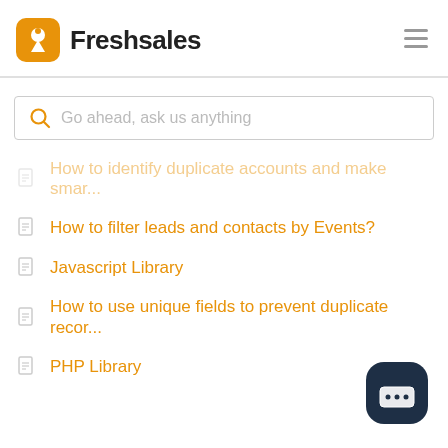Freshsales
How to identify duplicate accounts and make smar...
How to filter leads and contacts by Events?
Javascript Library
How to use unique fields to prevent duplicate recor...
PHP Library